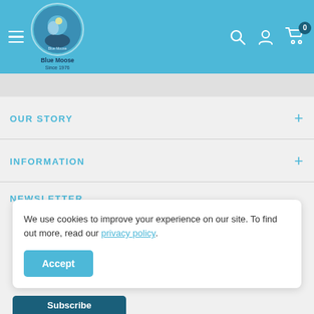Blue Moose - navigation header with logo, search, account, and cart icons
OUR STORY
INFORMATION
NEWSLETTER
We use cookies to improve your experience on our site. To find out more, read our privacy policy.
Accept